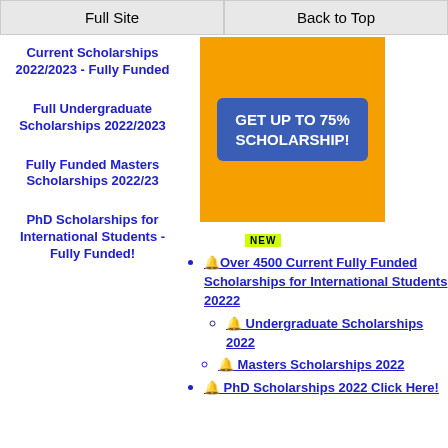Full Site | Back to Top
Current Scholarships 2022/2023 - Fully Funded
Full Undergraduate Scholarships 2022/2023
Fully Funded Masters Scholarships 2022/23
PhD Scholarships for International Students - Fully Funded!
[Figure (infographic): Orange advertisement banner with blue button reading GET UP TO 75% SCHOLARSHIP!]
NEW
🔔Over 4500 Current Fully Funded Scholarships for International Students 20222
🔔 Undergraduate Scholarships 2022
🔔 Masters Scholarships 2022
🔔 PhD Scholarships 2022 Click Here!